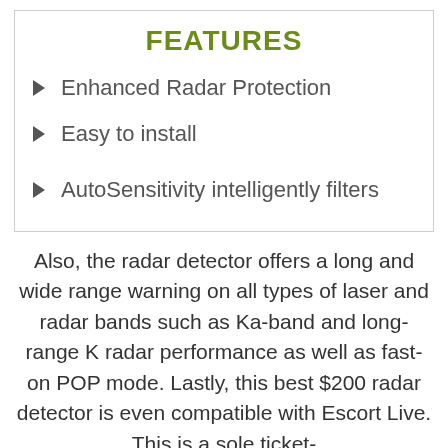FEATURES
Enhanced Radar Protection
Easy to install
AutoSensitivity intelligently filters
Also, the radar detector offers a long and wide range warning on all types of laser and radar bands such as Ka-band and long-range K radar performance as well as fast-on POP mode. Lastly, this best $200 radar detector is even compatible with Escort Live. This is a sole ticket-